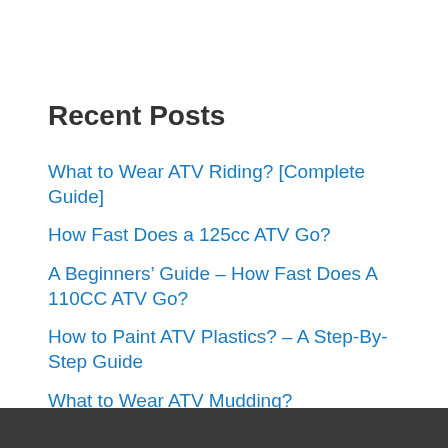Recent Posts
What to Wear ATV Riding? [Complete Guide]
How Fast Does a 125cc ATV Go?
A Beginners’ Guide – How Fast Does A 110CC ATV Go?
How to Paint ATV Plastics? – A Step-By-Step Guide
What to Wear ATV Mudding?